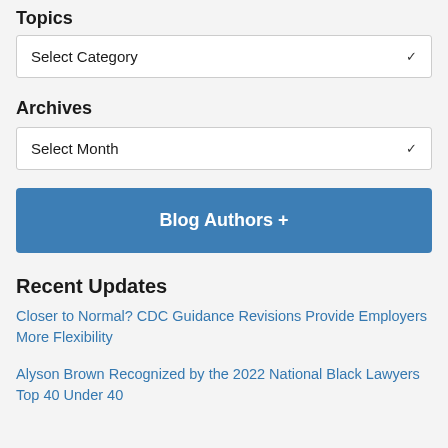Topics
Select Category
Archives
Select Month
Blog Authors +
Recent Updates
Closer to Normal? CDC Guidance Revisions Provide Employers More Flexibility
Alyson Brown Recognized by the 2022 National Black Lawyers Top 40 Under 40